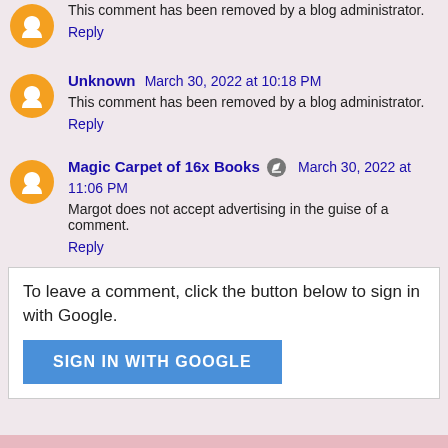This comment has been removed by a blog administrator.
Reply
Unknown  March 30, 2022 at 10:18 PM
This comment has been removed by a blog administrator.
Reply
Magic Carpet of 16x Books  March 30, 2022 at 11:06 PM
Margot does not accept advertising in the guise of a comment.
Reply
To leave a comment, click the button below to sign in with Google.
SIGN IN WITH GOOGLE